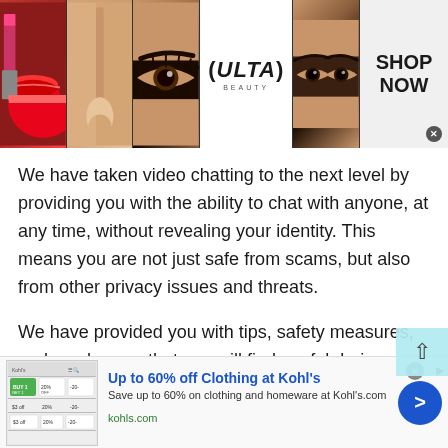[Figure (advertisement): Ulta Beauty banner ad showing makeup images (lips, brush, eye), Ulta Beauty logo in center, and 'SHOP NOW' text on right with close button]
We have taken video chatting to the next level by providing you with the ability to chat with anyone, at any time, without revealing your identity. This means you are not just safe from scams, but also from other privacy issues and threats.
We have provided you with tips, safety measures, and much more that you will find useful during an Russian Random voice calls with strangers . Now it is your turn to act on our advice and make a lasting first impression. Get
[Figure (advertisement): Kohl's banner ad: 'Up to 60% off Clothing at Kohl's' with store coupon image on left, description text, kohls.com domain, and blue circle arrow button]